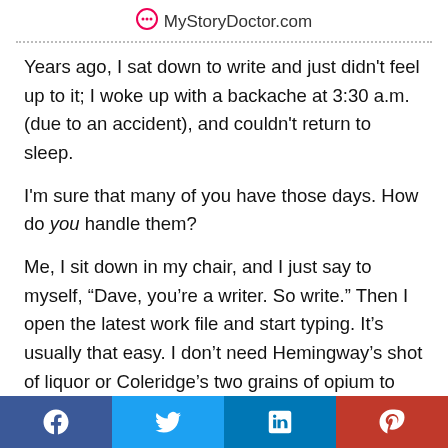MyStoryDoctor.com
Years ago, I sat down to write and just didn't feel up to it; I woke up with a backache at 3:30 a.m. (due to an accident), and couldn't return to sleep.
I'm sure that many of you have those days. How do you handle them?
Me, I sit down in my chair, and I just say to myself, “Dave, you're a writer. So write.” Then I open the latest work file and start typing. It’s usually that easy. I don’t need Hemingway’s shot of liquor or Coleridge’s two grains of opium to get me going. I just find a quiet place, sit at the
Facebook | Twitter | LinkedIn | Pinterest